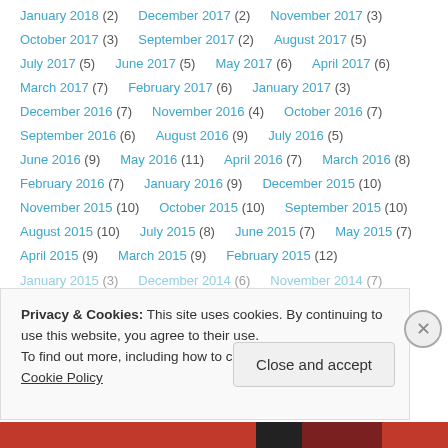January 2018 (2)   December 2017 (2)   November 2017 (3)
October 2017 (3)   September 2017 (2)   August 2017 (5)
July 2017 (5)   June 2017 (5)   May 2017 (6)   April 2017 (6)
March 2017 (7)   February 2017 (6)   January 2017 (3)
December 2016 (7)   November 2016 (4)   October 2016 (7)
September 2016 (6)   August 2016 (9)   July 2016 (5)
June 2016 (9)   May 2016 (11)   April 2016 (7)   March 2016 (8)
February 2016 (7)   January 2016 (9)   December 2015 (10)
November 2015 (10)   October 2015 (10)   September 2015 (10)
August 2015 (10)   July 2015 (8)   June 2015 (7)   May 2015 (7)
April 2015 (9)   March 2015 (9)   February 2015 (12)
January 2015 (3)   December 2014 (6)   November 2014 (7)
Privacy & Cookies: This site uses cookies. By continuing to use this website, you agree to their use. To find out more, including how to control cookies, see here: Cookie Policy
Close and accept